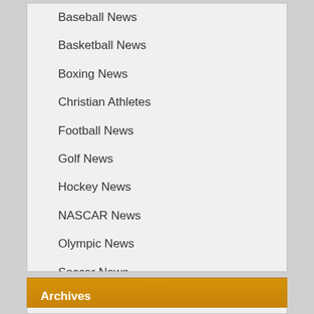Baseball News
Basketball News
Boxing News
Christian Athletes
Football News
Golf News
Hockey News
NASCAR News
Olympic News
Soccer News
Sports Speaker News
Tennis News
Virtual Events
Archives